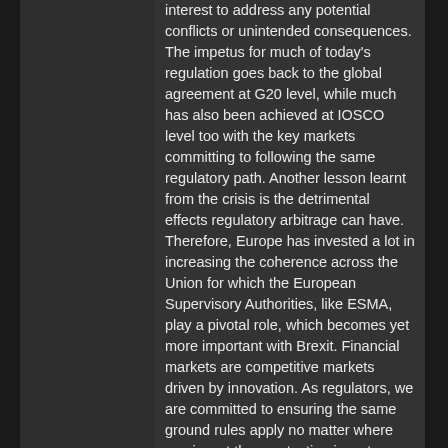interest to address any potential conflicts or unintended consequences. The impetus for much of today's regulation goes back to the global agreement at G20 level, while much has also been achieved at IOSCO level too with the key markets committing to following the same regulatory path. Another lesson learnt from the crisis is the detrimental effects regulatory arbitrage can have. Therefore, Europe has invested a lot in increasing the coherence across the Union for which the European Supervisory Authorities, like ESMA, play a pivotal role, which becomes yet more important with Brexit. Financial markets are competitive markets driven by innovation. As regulators, we are committed to ensuring the same ground rules apply no matter where you invest thus protecting investors from undue risk.